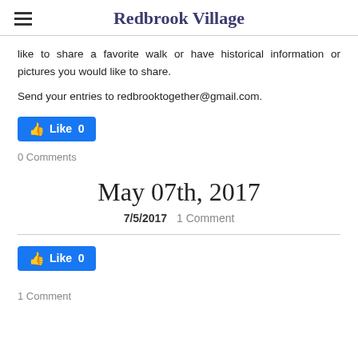Redbrook Village
like to share a favorite walk or have historical information or pictures you would like to share.
Send your entries to redbrooktogether@gmail.com.
[Figure (other): Facebook Like button showing Like 0]
0 Comments
May 07th, 2017
7/5/2017  1 Comment
[Figure (other): Facebook Like button showing Like 0]
1 Comment